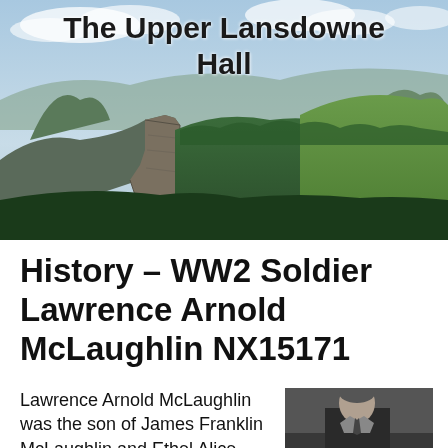[Figure (photo): Aerial landscape photo of mountain range with cliffs, dense green forest, and multiple peaks under a partly cloudy sky. The text 'The Upper Lansdowne Hall' is overlaid on the photo.]
History – WW2 Soldier Lawrence Arnold McLaughlin NX15171
Lawrence Arnold McLaughlin was the son of James Franklin McLaughlin and Ethel Alice
[Figure (photo): Black and white portrait photograph of a man, apparently middle-aged or older, in formal attire.]